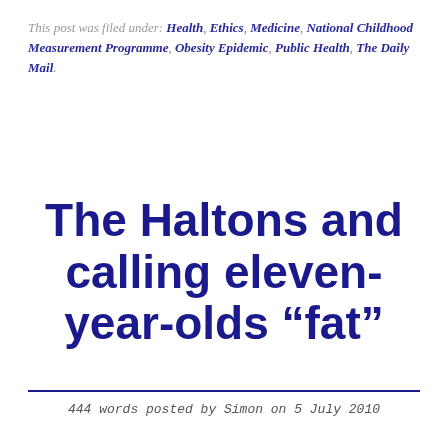This post was filed under: Health, Ethics, Medicine, National Childhood Measurement Programme, Obesity Epidemic, Public Health, The Daily Mail.
The Haltons and calling eleven-year-olds “fat”
444 words posted by Simon on 5 July 2010